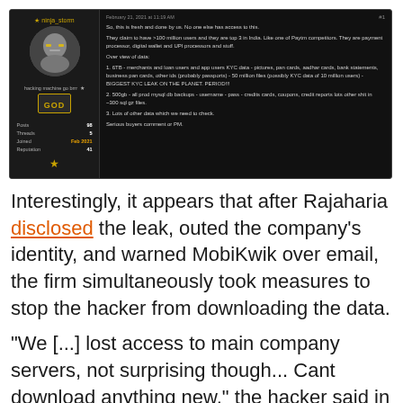[Figure (screenshot): Dark-themed forum post screenshot by user 'ninja_storm' (GOD rank) showing a post about a data leak of >100 million users from a Paytm competitor, listing 6TB KYC data, 500gb mysql DB backups, and other data. Post dated February 21, 2021 at 11:19 AM.]
Interestingly, it appears that after Rajaharia disclosed the leak, outed the company's identity, and warned MobiKwik over email, the firm simultaneously took measures to stop the hacker from downloading the data.
"We [...] lost access to main company servers, not surprising though... Cant download anything new," the hacker said in a forum post a day later, adding that